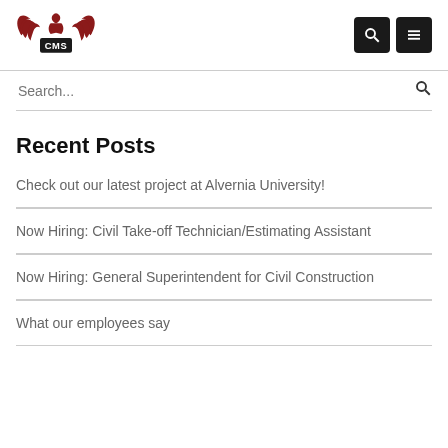[Figure (logo): CMS logo with eagle wings and CMS text in dark red/maroon]
Search...
Recent Posts
Check out our latest project at Alvernia University!
Now Hiring: Civil Take-off Technician/Estimating Assistant
Now Hiring: General Superintendent for Civil Construction
What our employees say